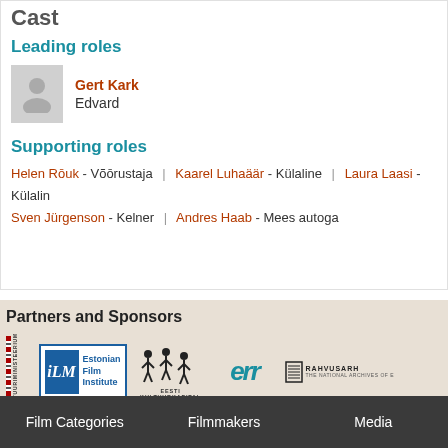Cast
Leading roles
Gert Kark - Edvard
Supporting roles
Helen Rōuk - Võōrustaja | Kaarel Luhaäär - Külaline | Laura Laasi - Külaline | Sven Jürgenson - Kelner | Andres Haab - Mees autoga
Partners and Sponsors
[Figure (logo): Logos of partners: Kultuuriministeerium, Estonian Film Institute, Eesti Kultuurkapital, ERR, Rahvusarhiiv]
Film Categories | Filmmakers | Media